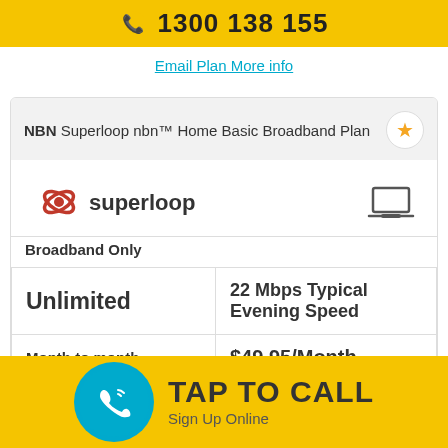1300 138 155
Email Plan More info
NBN Superloop nbn™ Home Basic Broadband Plan
[Figure (logo): Superloop logo in red]
Broadband Only
| Unlimited | 22 Mbps Typical Evening Speed |
| Month to month | $49.95/Month |
per month for 6 months, then $59.95 ongoing
Min total cost $48.65
View breakdown
TAP TO CALL
Sign Up Online